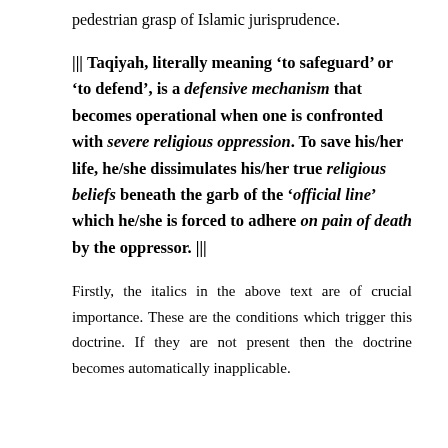pedestrian grasp of Islamic jurisprudence.
||| Taqiyah, literally meaning ‘to safeguard’ or ‘to defend’, is a defensive mechanism that becomes operational when one is confronted with severe religious oppression. To save his/her life, he/she dissimulates his/her true religious beliefs beneath the garb of the ‘official line’ which he/she is forced to adhere on pain of death by the oppressor. |||
Firstly, the italics in the above text are of crucial importance. These are the conditions which trigger this doctrine. If they are not present then the doctrine becomes automatically inapplicable.